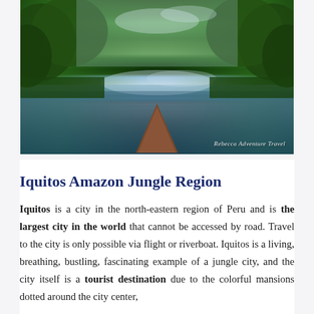[Figure (photo): A riverboat prow on an Amazon jungle river, with dense green tropical forest on both sides reflected in the calm dark water. Sky with clouds visible above. Watermark reads 'Rebecca Adventure Travel' in bottom right corner.]
Iquitos Amazon Jungle Region
Iquitos is a city in the north-eastern region of Peru and is the largest city in the world that cannot be accessed by road. Travel to the city is only possible via flight or riverboat. Iquitos is a living, breathing, bustling, fascinating example of a jungle city, and the city itself is a tourist destination due to the colorful mansions dotted around the city center,